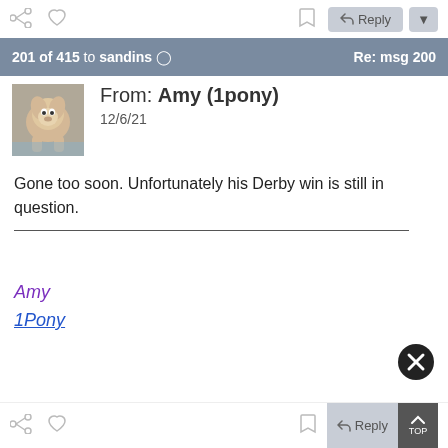201 of 415 to sandins  Re: msg 200
From: Amy (1pony)
12/6/21
Gone too soon. Unfortunately his Derby win is still in question.
Amy
1Pony
Reply  TOP